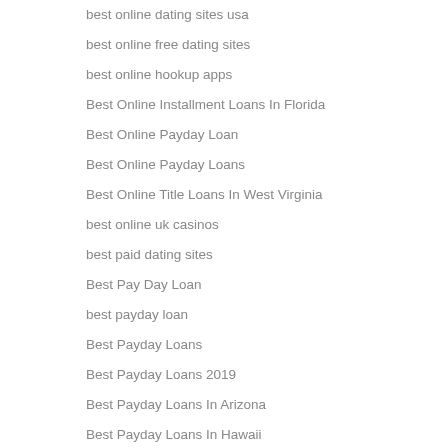best online dating sites usa
best online free dating sites
best online hookup apps
Best Online Installment Loans In Florida
Best Online Payday Loan
Best Online Payday Loans
Best Online Title Loans In West Virginia
best online uk casinos
best paid dating sites
Best Pay Day Loan
best payday loan
Best Payday Loans
Best Payday Loans 2019
Best Payday Loans In Arizona
Best Payday Loans In Hawaii